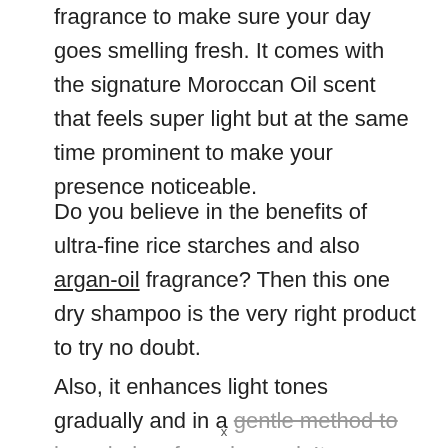fragrance to make sure your day goes smelling fresh. It comes with the signature Moroccan Oil scent that feels super light but at the same time prominent to make your presence noticeable.
Do you believe in the benefits of ultra-fine rice starches and also argan-oil fragrance? Then this one dry shampoo is the very right product to try no doubt.
Also, it enhances light tones gradually and in a gentle method to keep hair safe and sound. It
x